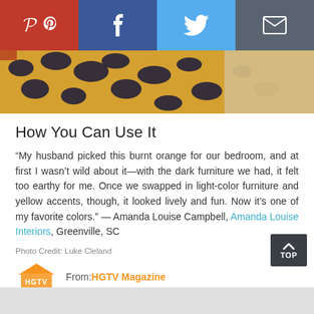[Figure (screenshot): Social sharing bar with Pinterest (red), Facebook (dark blue), Twitter (light blue), and Email (gray) buttons]
[Figure (photo): Close-up photo of leopard print fabric in yellow and dark navy, with beige fabric to the right]
How You Can Use It
“My husband picked this burnt orange for our bedroom, and at first I wasn’t wild about it—with the dark furniture we had, it felt too earthy for me. Once we swapped in light-color furniture and yellow accents, though, it looked lively and fun. Now it’s one of my favorite colors.” — Amanda Louise Campbell, Amanda Louise Interiors, Greenville, SC
Photo Credit: Luke Cleland
From: HGTV Magazine